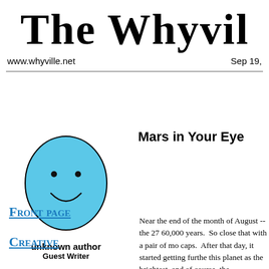The Whyvil
www.whyville.net | Sep 19,
[Figure (illustration): A simple cartoon smiley face with a light blue oval head, two black dot eyes, and a curved smile, drawn with a black outline border.]
unknown author
Guest Writer
Mars in Your Eye
Front page
Creative
Near the end of the month of August -- the 27 60,000 years. So close that with a pair of mc caps. After that day, it started getting furthe this planet as the brightest, and of course, the